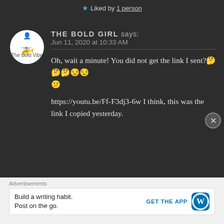★ Liked by 1 person
THE BOLD GIRL says:
Jun 11, 2020 at 10:33 AM
Oh, wait a minute! You did not get the link I sent?🤔🤔🤔😒😒
😕
https://youtu.be/Ff-F3dj3-6w I think, this was the link I copied yesterday.
Advertisements
Build a writing habit.
Post on the go.
GET THE APP